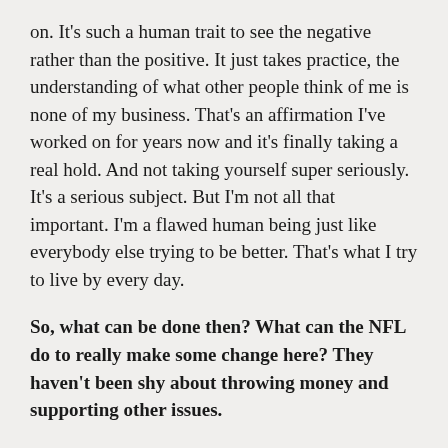on. It's such a human trait to see the negative rather than the positive. It just takes practice, the understanding of what other people think of me is none of my business. That's an affirmation I've worked on for years now and it's finally taking a real hold. And not taking yourself super seriously. It's a serious subject. But I'm not all that important. I'm a flawed human being just like everybody else trying to be better. That's what I try to live by every day.
So, what can be done then? What can the NFL do to really make some change here? They haven't been shy about throwing money and supporting other issues.
Leaf: That's the thing. They're going to have to do the same. How they jumped in and full-throated put some money behind the social justice reform this year, that's